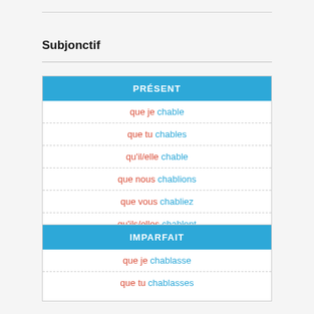Subjonctif
| PRÉSENT |
| --- |
| que je chable |
| que tu chables |
| qu'il/elle chable |
| que nous chablions |
| que vous chabliez |
| qu'ils/elles chablent |
| IMPARFAIT |
| --- |
| que je chablasse |
| que tu chablasses |